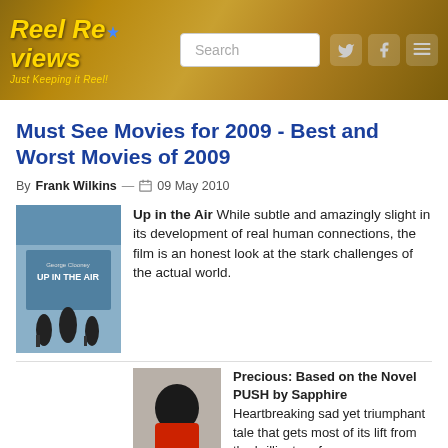Reel Reviews — Just Keeping it Reel!
Must See Movies for 2009 - Best and Worst Movies of 2009
By Frank Wilkins — 09 May 2010
[Figure (photo): Movie poster for Up in the Air featuring George Clooney silhouettes in an airport]
Up in the Air While subtle and amazingly slight in its development of real human connections, the film is an honest look at the stark challenges of the actual world.
[Figure (photo): Movie poster for Precious: Based on the Novel PUSH by Sapphire showing a figure in red]
Precious: Based on the Novel PUSH by Sapphire Heartbreaking sad yet triumphant tale that gets most of its lift from the brilliant performances.
[Figure (photo): Movie poster for The Hurt Locker with quote A NEAR-PERFECT MOVIE / A FULL-TET ACTION PICTURE]
The Hurt Locker As the credits begin to roll,